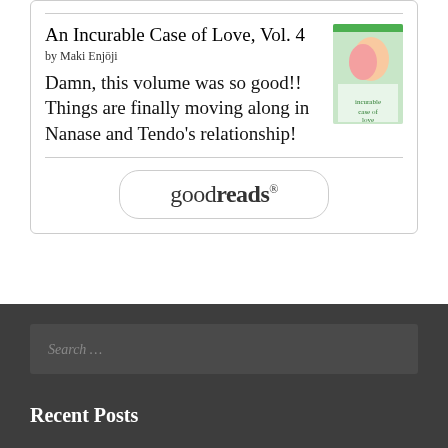An Incurable Case of Love, Vol. 4
by Maki Enjoji
Damn, this volume was so good!! Things are finally moving along in Nanase and Tendo's relationship!
[Figure (logo): Goodreads logo button with rounded rectangle border]
[Figure (illustration): Book cover for An Incurable Case of Love Vol. 4 showing manga art]
Search …
Recent Posts